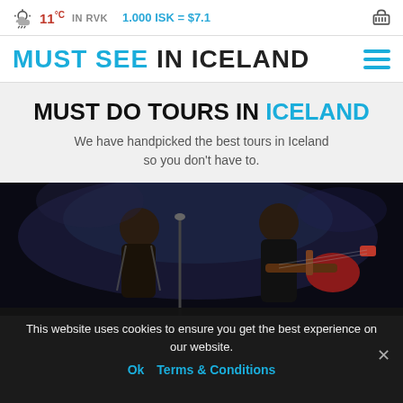11°C IN RVK  1.000 ISK = $7.1
MUST SEE IN ICELAND
MUST DO TOURS IN ICELAND
We have handpicked the best tours in Iceland so you don't have to.
[Figure (photo): Two musicians on stage, one playing a guitar, dark atmospheric concert setting]
This website uses cookies to ensure you get the best experience on our website.
Ok  Terms & Conditions